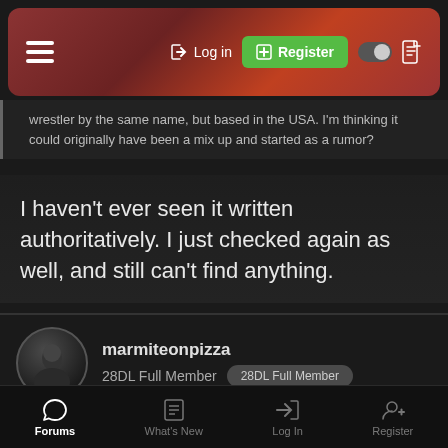Log in | Register
wrestler by the same name, but based in the USA. I'm thinking it could originally have been a mix up and started as a rumor?
I haven't ever seen it written authoritatively. I just checked again as well, and still can't find anything.
marmiteonpizza
28DL Full Member  28DL Full Member
Nov 20, 2015   #10
Oxygen Thief said:
I haven't ever seen it written authoritatively. I just checked again as well, and still can't find anything.
Forums | What's New | Log In | Register